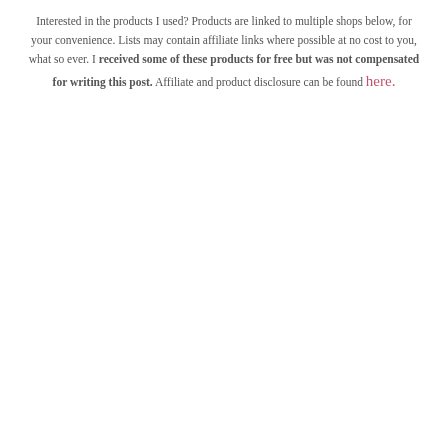Interested in the products I used? Products are linked to multiple shops below, for your convenience. Lists may contain affiliate links where possible at no cost to you, what so ever. I received some of these products for free but was not compensated for writing this post. Affiliate and product disclosure can be found here.